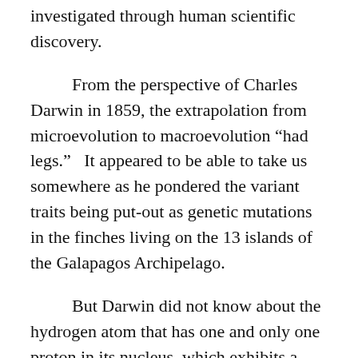investigated through human scientific discovery.
From the perspective of Charles Darwin in 1859, the extrapolation from microevolution to macroevolution “had legs.”  It appeared to be able to take us somewhere as he pondered the variant traits being put-out as genetic mutations in the finches living on the 13 islands of the Galapagos Archipelago.
But Darwin did not know about the hydrogen atom that has one and only one proton in its nucleus, which exhibits a well-defined essence that differentiates it from a helium atom that has two protons.